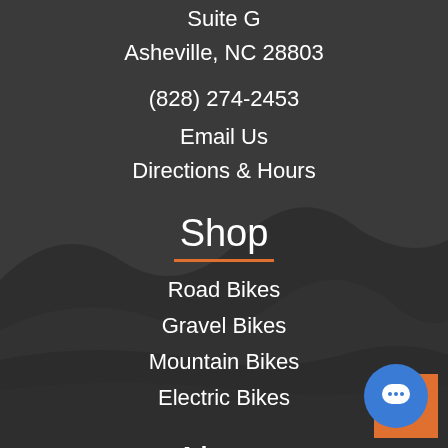Suite G
Asheville, NC 28803
(828) 274-2453
Email Us
Directions & Hours
Shop
Road Bikes
Gravel Bikes
Mountain Bikes
Electric Bikes
About
Bike Repair & Service